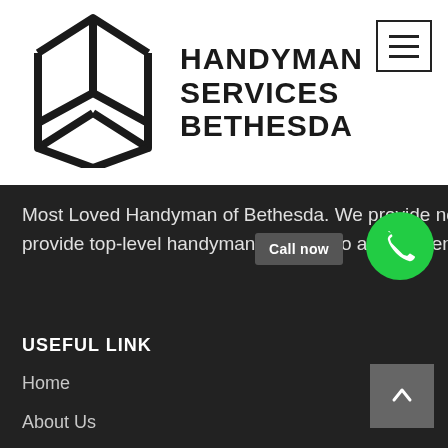[Figure (logo): Open book / map pin outline logo icon in black on white background]
HANDYMAN SERVICES BETHESDA
Most Loved Handyman of Bethesda. We provide no-obligation quotes and our priority has been to provide top-level handyman services to all our clients be it small or big.
USEFUL LINK
Home
About Us
Blogs